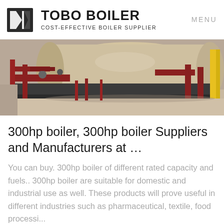TOBO BOILER — COST-EFFECTIVE BOILER SUPPLIER — MENU
[Figure (photo): Industrial boiler installation showing pipes, valves, and boiler equipment in a facility. Red pipes and yellow structural elements are visible.]
300hp boiler, 300hp boiler Suppliers and Manufacturers at …
You can buy. 300hp boiler of different rated capacity and fuels.. 300hp boiler are suitable for domestic and industrial use as well. These products will prove useful in different industries such as pharmaceutical, textile, food processi...